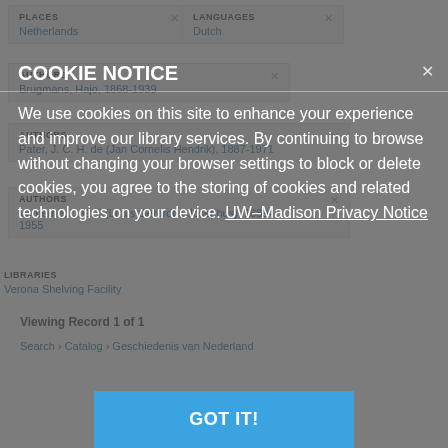PLACES
Netherlands
LANGUAGES
Dutch
AUTHORS
Brugmans, Hajo, 1868-1939
AUTHORS
Pater, J. C. H. de (Jan Cornelis Hendrik), 1887-1971
AUTHORS
Verberne, L. G. J (Louis Gerardus Josephus), 1889-1955
LIBRARIES
Verona Shelving Facility
Viewing Record 1 of 1
Search › Catalog › Geschiedenis van Nederland
COOKIE NOTICE
We use cookies on this site to enhance your experience and improve our library services. By continuing to browse without changing your browser settings to block or delete cookies, you agree to the storing of cookies and related technologies on your device. UW–Madison Privacy Notice
GOT IT!